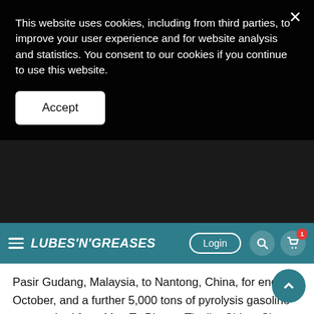This website uses cookies, including from third parties, to improve your user experience and for website analysis and statistics. You consent to our cookies if you continue to use this website.
Accept
LUBES'N'GREASES | Login
Pasir Gudang, Malaysia, to Nantong, China, for end October, and a further 5,000 tons of pyrolysis gasoline was pushed from Map Ta Phut to Tianjin, China. Six thousand tons of unconverted oil from Bangkok to Ulsan Nov. 1-5 was struggling for another week to find space.
Owners with smaller vessels in Southeast Asia have been left with prompt space to fill. Five thousand tons of 2-ethylhexanol was quoted from Gresik, Indonesia, to Dongguan, China, for mid-November, the end October cargo having been fixed to mid-O..., reportedly in the high $30s/t. Three thousand six hundred tons of pyrolysis gasoline was noted from Map Ta Phut to Singapore and